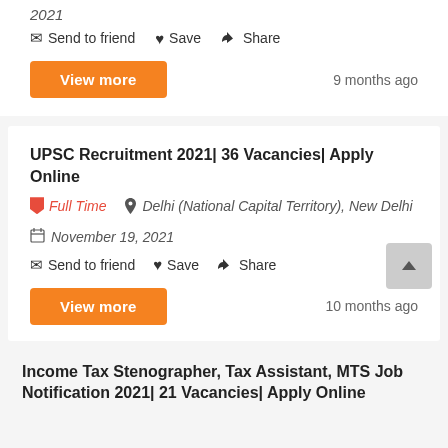2021
Send to friend  Save  Share
View more   9 months ago
UPSC Recruitment 2021| 36 Vacancies| Apply Online
Full Time   Delhi (National Capital Territory), New Delhi   November 19, 2021
Send to friend  Save  Share
View more   10 months ago
Income Tax Stenographer, Tax Assistant, MTS Job Notification 2021| 21 Vacancies| Apply Online